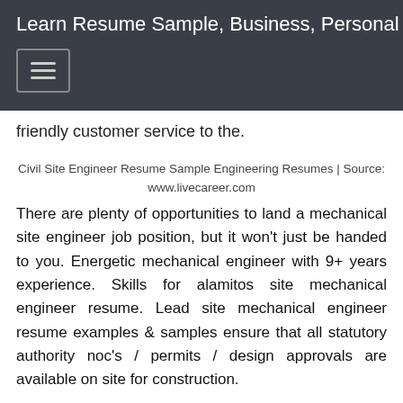Learn Resume Sample, Business, Personal Tips
friendly customer service to the.
Civil Site Engineer Resume Sample Engineering Resumes | Source: www.livecareer.com
There are plenty of opportunities to land a mechanical site engineer job position, but it won't just be handed to you. Energetic mechanical engineer with 9+ years experience. Skills for alamitos site mechanical engineer resume. Lead site mechanical engineer resume examples & samples ensure that all statutory authority noc's / permits / design approvals are available on site for construction.
Site Engineer Resume Examples and Tips Zippia | Source: